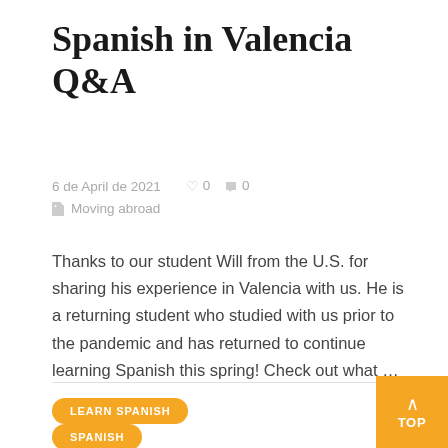Spanish in Valencia Q&A
6 de April de 2021  ♡ 0  💬 0  Moving abroad
Thanks to our student Will from the U.S. for sharing his experience in Valencia with us. He is a returning student who studied with us prior to the pandemic and has returned to continue learning Spanish this spring! Check out what …
LEARN SPANISH
SPANISH
TOP